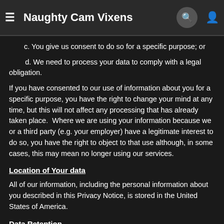Naughty Cam Vixens
c. You give us consent to do so for a specific purpose; or
d. We need to process your data to comply with a legal obligation.
If you have consented to our use of information about you for a specific purpose, you have the right to change your mind at any time, but this will not affect any processing that has already taken place.  Where we are using your information because we or a third party (e.g. your employer) have a legitimate interest to do so, you have the right to object to that use although, in some cases, this may mean no longer using our services.
Location of Your data
All of our information, including the personal information about you described in this Privacy Notice, is stored in the United States of America.
Data Retention